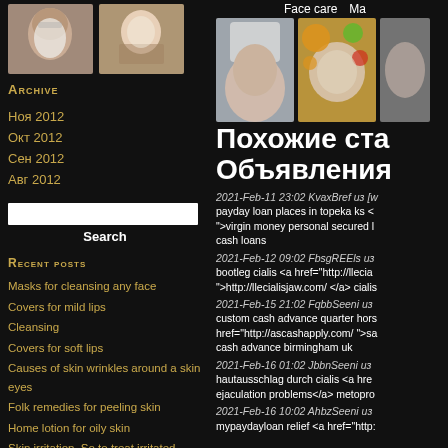[Figure (photo): Two facial/beauty treatment photos side by side in top left]
Archive
Ноя 2012
Окт 2012
Сен 2012
Авг 2012
Search
Recent posts
Masks for cleansing any face
Covers for mild lips
Cleansing
Covers for soft lips
Causes of skin wrinkles around a skin eyes
Folk remedies for peeling skin
Home lotion for oily skin
Skin irritation. So to treat irritated skin: folk remedies
Masks for mild lips
Almond Peeling: indications and
[Figure (photo): Face care photos: woman with towel and woman with fruit face mask]
Face care
Ma
Похожие ста
Объявления
2021-Feb-11 23:02 KvaxBref из [w payday loan places in topeka ks < ">virgin money personal secured l cash loans
2021-Feb-12 09:02 FbsgREEls из bootleg cialis <a href="http://llecia ">http://llecialisjaw.com/ </a> cialis
2021-Feb-15 21:02 FqbbSeeni из custom cash advance quarter hors href="http://ascashapply.com/ ">sa cash advance birmingham uk
2021-Feb-16 01:02 JbbnSeeni из hautausschlag durch cialis <a hre ejaculation problems</a> metopro
2021-Feb-16 10:02 AhbzSeeni из mypaydayloan relief <a href="http: